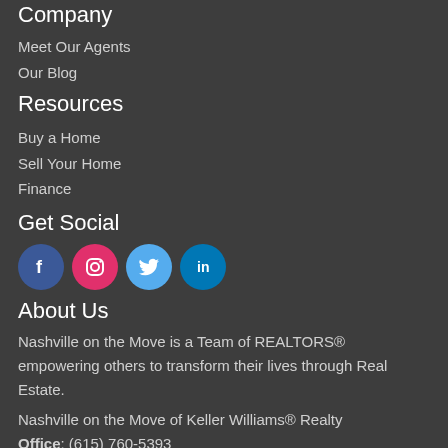Company
Meet Our Agents
Our Blog
Resources
Buy a Home
Sell Your Home
Finance
Get Social
[Figure (infographic): Four social media icons: Facebook (blue circle), Instagram (pink circle), Twitter (light blue circle), LinkedIn (blue circle)]
About Us
Nashville on the Move is a Team of REALTORS® empowering others to transform their lives through Real Estate.
Nashville on the Move of Keller Williams® Realty
Office: (615) 760-5393
Keller Williams® Realty: (615) 425-3600